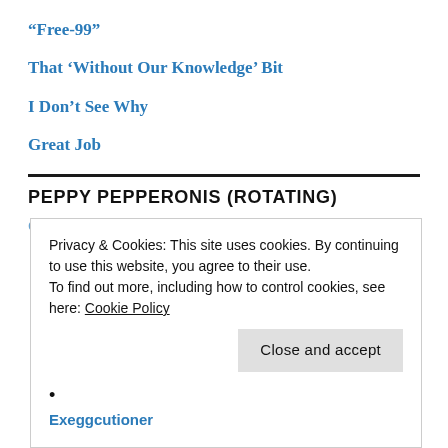“Free-99”
That ‘Without Our Knowledge’ Bit
I Don’t See Why
Great Job
PEPPY PEPPERONIS (ROTATING)
Privacy & Cookies: This site uses cookies. By continuing to use this website, you agree to their use.
To find out more, including how to control cookies, see here: Cookie Policy
Close and accept
Exeggcutioner